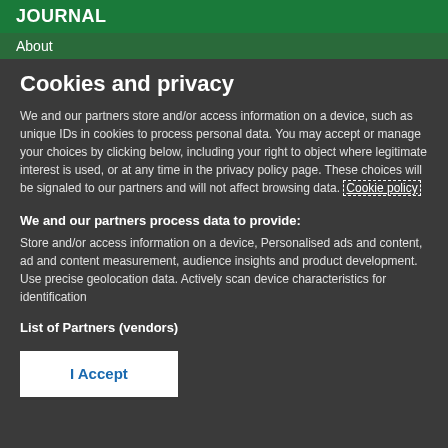JOURNAL
About
Cookies and privacy
We and our partners store and/or access information on a device, such as unique IDs in cookies to process personal data. You may accept or manage your choices by clicking below, including your right to object where legitimate interest is used, or at any time in the privacy policy page. These choices will be signaled to our partners and will not affect browsing data. Cookie policy
We and our partners process data to provide:
Store and/or access information on a device, Personalised ads and content, ad and content measurement, audience insights and product development. Use precise geolocation data. Actively scan device characteristics for identification
List of Partners (vendors)